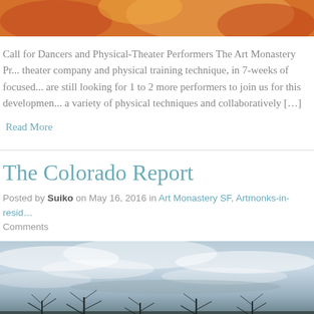[Figure (photo): Top portion of a colorful photo showing warm orange and red tones, appears to be a performer or artistic image]
Call for Dancers and Physical-Theater Performers The Art Monastery Pr... theater company and physical training technique, in 7-weeks of focused... are still looking for 1 to 2 more performers to join us for this developmen... a variety of physical techniques and collaboratively [...]
Read More
The Colorado Report
Posted by Suiko on May 16, 2016 in Art Monastery SF, Artmonks-in-resid... Comments
[Figure (photo): Landscape photo of a cloudy sky with bare trees silhouetted in the foreground, taken in Colorado]